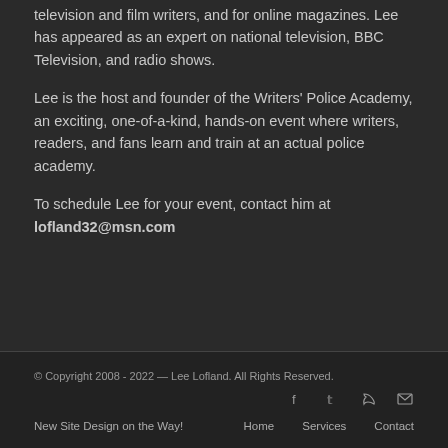television and film writers, and for online magazines. Lee has appeared as an expert on national television, BBC Television, and radio shows.
Lee is the host and founder of the Writers' Police Academy, an exciting, one-of-a-kind, hands-on event where writers, readers, and fans learn and train at an actual police academy.
To schedule Lee for your event, contact him at lofland32@msn.com
© Copyright 2008 - 2022 — Lee Lofland. All Rights Reserved.   New Site Design on the Way!   Home   Services   Contact